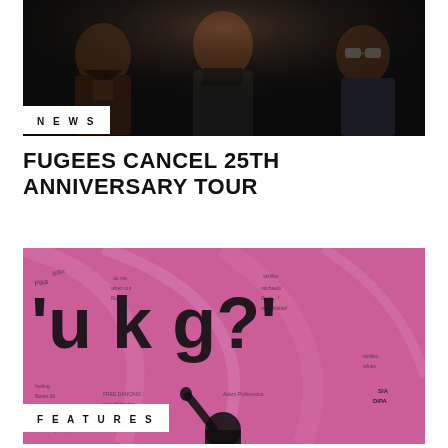[Figure (photo): Three men photographed against a dark background, shown in profile and three-quarter views]
NEWS
FUGEES CANCEL 25TH ANNIVERSARY TOUR
[Figure (photo): Pink promotional image with large bold text reading 'u k g?' with handwritten scribbles and a silhouette of a person in the foreground]
FEATURES